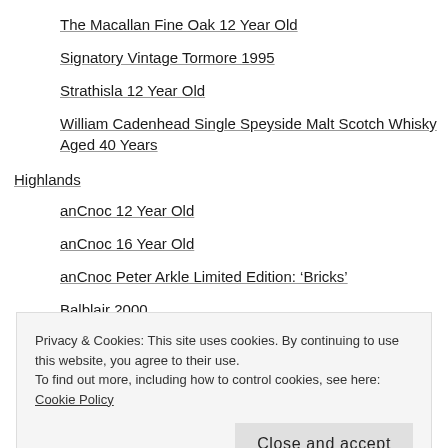The Macallan Fine Oak 12 Year Old
Signatory Vintage Tormore 1995
Strathisla 12 Year Old
William Cadenhead Single Speyside Malt Scotch Whisky Aged 40 Years
Highlands
anCnoc 12 Year Old
anCnoc 16 Year Old
anCnoc Peter Arkle Limited Edition: ‘Bricks’
Balblair 2000
Privacy & Cookies: This site uses cookies. By continuing to use this website, you agree to their use.
To find out more, including how to control cookies, see here: Cookie Policy
The Pot Still Exclusive Invergordon 26 Year Old Single